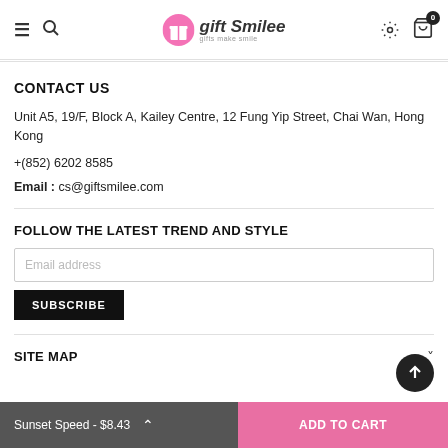gift Smilee — gifts make smile
CONTACT US
Unit A5, 19/F, Block A, Kailey Centre, 12 Fung Yip Street, Chai Wan, Hong Kong
+(852) 6202 8585
Email : cs@giftsmilee.com
FOLLOW THE LATEST TREND AND STYLE
Email address
SUBSCRIBE
SITE MAP
Sunset Speed - $8.43  ADD TO CART